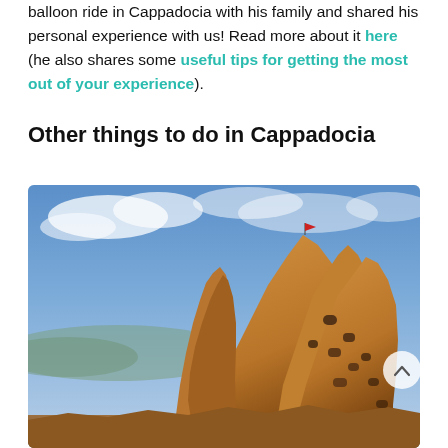balloon ride in Cappadocia with his family and shared his personal experience with us! Read more about it here (he also shares some useful tips for getting the most out of your experience).
Other things to do in Cappadocia
[Figure (photo): Landscape photo of Uchisar Castle in Cappadocia — large rocky volcanic formations with cave dwellings carved into the stone, under a dramatic blue sky with clouds. A small red flag is visible at the top of the highest rock spire.]